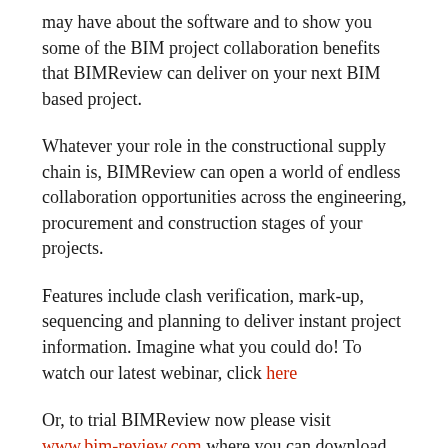may have about the software and to show you some of the BIM project collaboration benefits that BIMReview can deliver on your next BIM based project.
Whatever your role in the constructional supply chain is, BIMReview can open a world of endless collaboration opportunities across the engineering, procurement and construction stages of your projects.
Features include clash verification, mark-up, sequencing and planning to deliver instant project information. Imagine what you could do! To watch our latest webinar, click here
Or, to trial BIMReview now please visit www.bim-review.com where you can download and start benefiting!
One comment so far